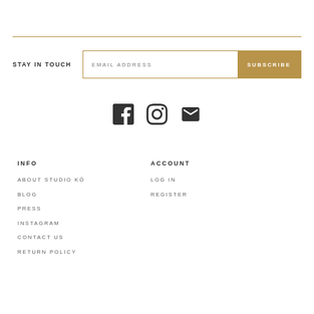STAY IN TOUCH
[Figure (infographic): Three social media icons: Facebook, Instagram, and Email (envelope)]
INFO
ABOUT STUDIO KŌ
BLOG
PRESS
INSTAGRAM
CONTACT US
RETURN POLICY
ACCOUNT
LOG IN
REGISTER